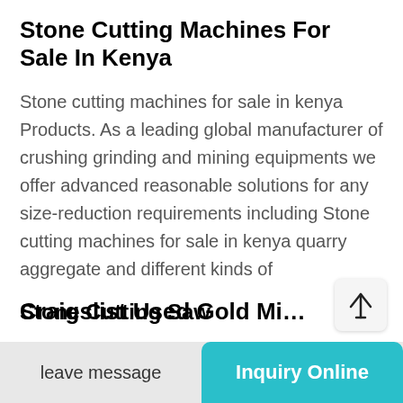Stone Cutting Machines For Sale In Kenya
Stone cutting machines for sale in kenya Products. As a leading global manufacturer of crushing grinding and mining equipments we offer advanced reasonable solutions for any size-reduction requirements including Stone cutting machines for sale in kenya quarry aggregate and different kinds of
Stone Cutting Saw
TOOLGAL Diamond Blade 7 for Masonry - Wet and Dry Cutting of ConcreteTilesStone - Arbor fit to Angle Grinders Circular Saws Masonry Saws Tilesaw and Cutoff Cutters 4.6
leave message | Inquiry Online
Craigslist Used Gold Mi…